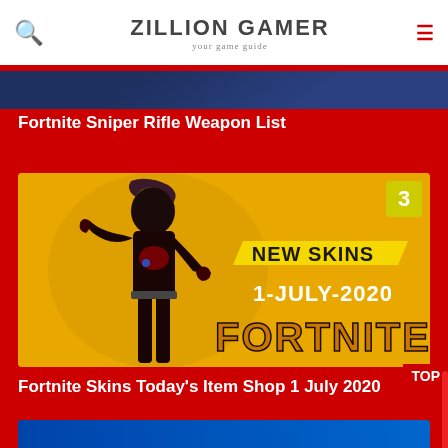ZILLION GAMER — your game guide
[Figure (screenshot): Partial top image, dark blue background (Fortnite sniper rifle article thumbnail, cropped)]
Fortnite Sniper Rifle Weapon List
[Figure (illustration): Fortnite promotional card on yellow/orange background showing a female character in red and black outfit. Badge '3' in top right. Text reads: NEW SKINS 1-JULY-2020 FORTNITE]
Fortnite Skins Today's Item Shop 1 July 2020
[Figure (screenshot): Partial bottom image strip, blue background (another Fortnite article thumbnail, cropped)]